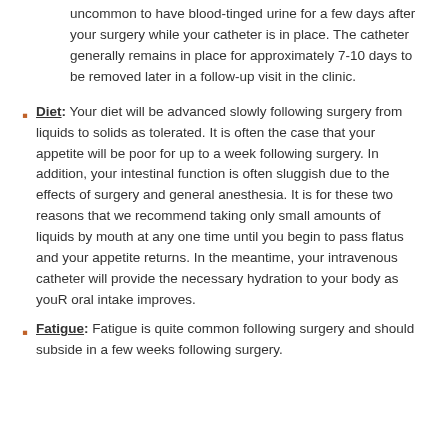uncommon to have blood-tinged urine for a few days after your surgery while your catheter is in place. The catheter generally remains in place for approximately 7-10 days to be removed later in a follow-up visit in the clinic.
Diet: Your diet will be advanced slowly following surgery from liquids to solids as tolerated. It is often the case that your appetite will be poor for up to a week following surgery. In addition, your intestinal function is often sluggish due to the effects of surgery and general anesthesia. It is for these two reasons that we recommend taking only small amounts of liquids by mouth at any one time until you begin to pass flatus and your appetite returns. In the meantime, your intravenous catheter will provide the necessary hydration to your body as youR oral intake improves.
Fatigue: Fatigue is quite common following surgery and should subside in a few weeks following surgery.